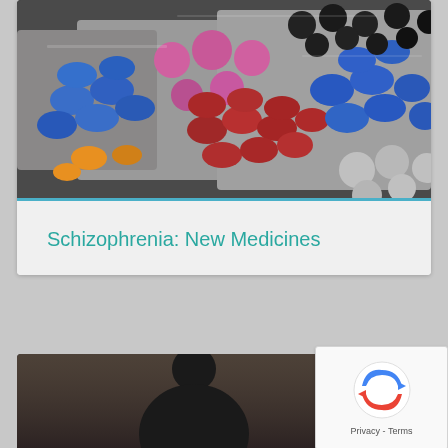[Figure (photo): Blister packs of colorful pharmaceutical pills and tablets — blue, pink/red, orange, gray, and dark — arranged in a dense spread filling the upper portion of a card]
Schizophrenia: New Medicines
[Figure (photo): Partially visible photo of a person (silhouette) at the bottom of the page, cropped]
[Figure (other): reCAPTCHA widget overlay showing spinning arrows logo with 'Privacy - Terms' text]